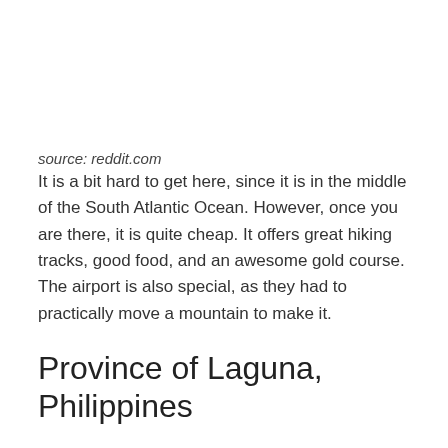source: reddit.com
It is a bit hard to get here, since it is in the middle of the South Atlantic Ocean. However, once you are there, it is quite cheap. It offers great hiking tracks, good food, and an awesome gold course. The airport is also special, as they had to practically move a mountain to make it.
Province of Laguna, Philippines